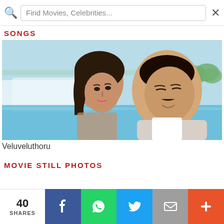Find Movies, Celebrities...
SONGS
[Figure (photo): A romantic still from a movie showing a woman leaning her head close to a man with a moustache smiling. They appear to be outdoors near a waterfall and blue water, likely Niagara Falls, with trees and buildings in the background.]
Veluveluthoru
MOVIE STILL PHOTOS
40 SHARES